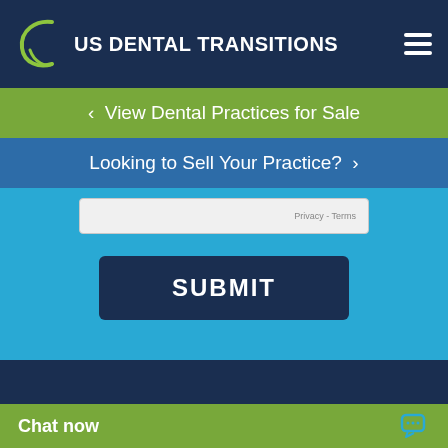US DENTAL TRANSITIONS
< View Dental Practices for Sale
Looking to Sell Your Practice?  >
Privacy - Terms
SUBMIT
[Figure (infographic): Social media icons row: Facebook, Twitter, Instagram, LinkedIn]
Chat now